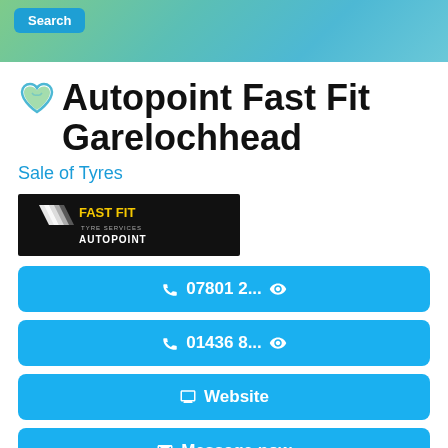[Figure (screenshot): Green-teal gradient banner with a blue Search button in the top-left corner]
Autopoint Fast Fit Garelochhead
Sale of Tyres
[Figure (logo): Autopoint Fast Fit logo: black background with yellow chevrons and white text]
07801 2... (phone button with eye icon)
01436 8... (phone button with eye icon)
Website (button with monitor icon)
Message now (button with envelope icon)
175 Main St, Garelochhead
Garelochhead